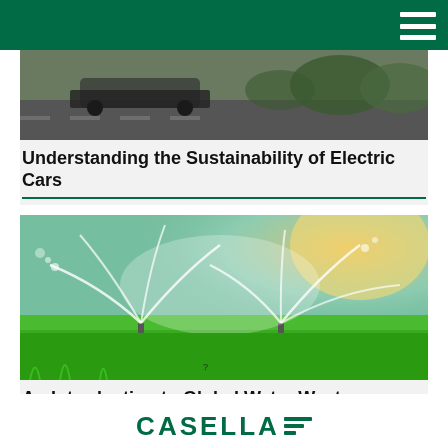Understanding the Sustainability of Electric Cars
[Figure (photo): Photo of an electric car driving on a road with greenery in the background]
An Introduction to Global Water Wastage
[Figure (photo): Photo of lawn sprinklers spraying water over bright green grass with sunlight in the background]
[Figure (logo): Casella logo with green text and three horizontal lines decreasing in length]